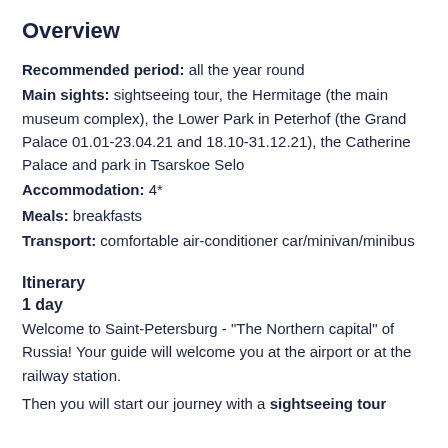Overview
Recommended period: all the year round
Main sights: sightseeing tour, the Hermitage (the main museum complex), the Lower Park in Peterhof (the Grand Palace 01.01-23.04.21 and 18.10-31.12.21), the Catherine Palace and park in Tsarskoe Selo
Accommodation: 4*
Meals: breakfasts
Transport: comfortable air-conditioner car/minivan/minibus
Itinerary
1 day
Welcome to Saint-Petersburg - "The Northern capital" of Russia! Your guide will welcome you at the airport or at the railway station.
Then you will start our journey with a sightseeing tour